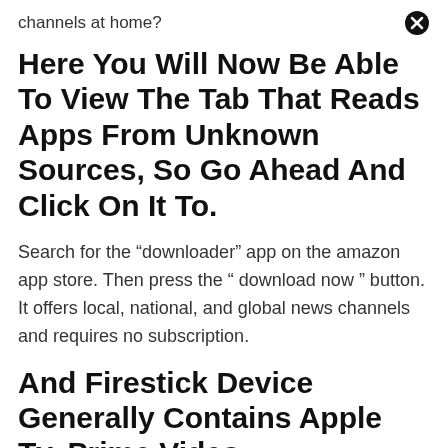channels at home?
Here You Will Now Be Able To View The Tab That Reads Apps From Unknown Sources, So Go Ahead And Click On It To.
Search for the “downloader” app on the amazon app store. Then press the “ download now ” button. It offers local, national, and global news channels and requires no subscription.
And Firestick Device Generally Contains Apple Tv, Prime Video, Netflix, Hbo, Youtube, And Pluto, Etc.